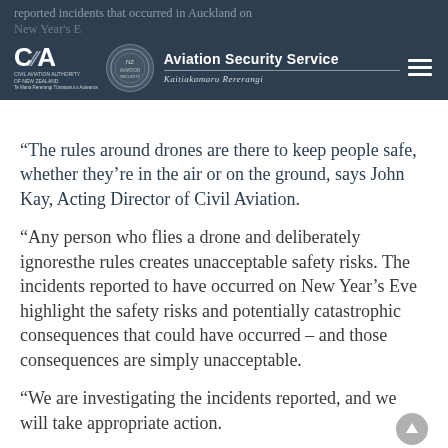reported incidents that occurred in Auckland on New Year's Eve — Aviation Security Service Kaitiakamaru Rererangi
“The rules around drones are there to keep people safe, whether they’re in the air or on the ground, says John Kay, Acting Director of Civil Aviation.
“Any person who flies a drone and deliberately ignoresthe rules creates unacceptable safety risks. The incidents reported to have occurred on New Year’s Eve highlight the safety risks and potentially catastrophic consequences that could have occurred – and those consequences are simply unacceptable.
“We are investigating the incidents reported, and we will take appropriate action.
“Drones are fun devices if operated safely. They